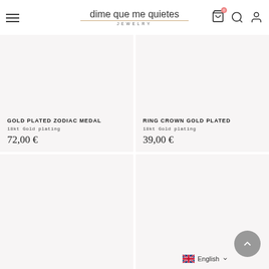dime que me quieres JEWELRY
GOLD PLATED ZODIAC MEDAL
18kt Gold plating
72,00 €
RING CROWN GOLD PLATED
18kt Gold plating
39,00 €
[Figure (photo): Product image placeholder – lower left product card]
[Figure (photo): Product image placeholder – lower right product card]
English